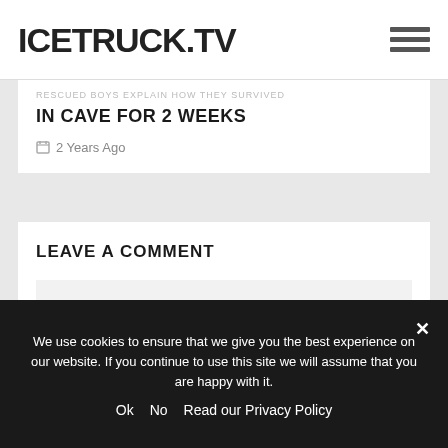ICETRUCK.TV
RESCUED BOYS EXPLAIN HOW THEY SURVIVED IN CAVE FOR 2 WEEKS
2 Years Ago
LEAVE A COMMENT
Your Comment...
We use cookies to ensure that we give you the best experience on our website. If you continue to use this site we will assume that you are happy with it.
Ok   No   Read our Privacy Policy